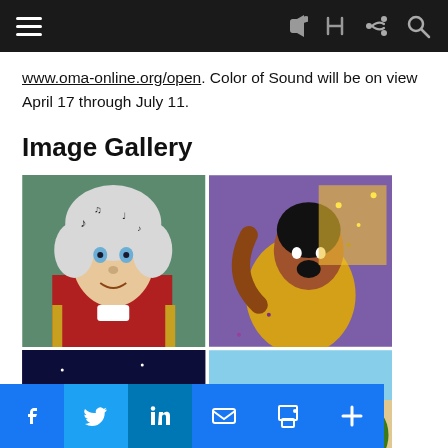[navigation bar with hamburger menu, share and search icons]
www.oma-online.org/open. Color of Sound will be on view April 17 through July 11.
Image Gallery
[Figure (photo): Painting of a classical figure, resembling Mozart, with musical notes around the head, wearing a red coat]
[Figure (photo): Colorful mosaic-style artwork of a jazz singer performing, made of purple/gold glitter-like beads]
[Figure (photo): Partial view of artwork with red and dark blue tones, bottom of gallery row]
[Figure (photo): Colorful painting of two people dancing tango in a street scene]